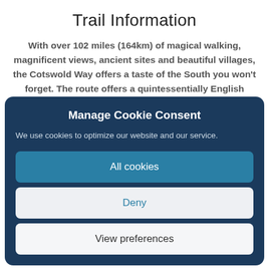Trail Information
With over 102 miles (164km) of magical walking, magnificent views, ancient sites and beautiful villages, the Cotswold Way offers a taste of the South you won't forget. The route offers a quintessentially English experience through flower-filled meadows, wonderful beech woodland, charming towns and villages and past historic sites – with amazing views from the Cotswold escarpment.
Manage Cookie Consent
We use cookies to optimize our website and our service.
All cookies
Deny
View preferences